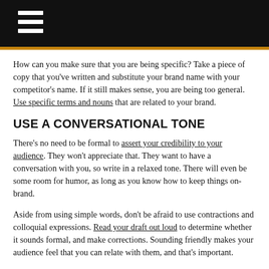How can you make sure that you are being specific? Take a piece of copy that you've written and substitute your brand name with your competitor's name. If it still makes sense, you are being too general. Use specific terms and nouns that are related to your brand.
USE A CONVERSATIONAL TONE
There's no need to be formal to assert your credibility to your audience. They won't appreciate that. They want to have a conversation with you, so write in a relaxed tone. There will even be some room for humor, as long as you know how to keep things on-brand.
Aside from using simple words, don't be afraid to use contractions and colloquial expressions. Read your draft out loud to determine whether it sounds formal, and make corrections. Sounding friendly makes your audience feel that you can relate with them, and that's important.